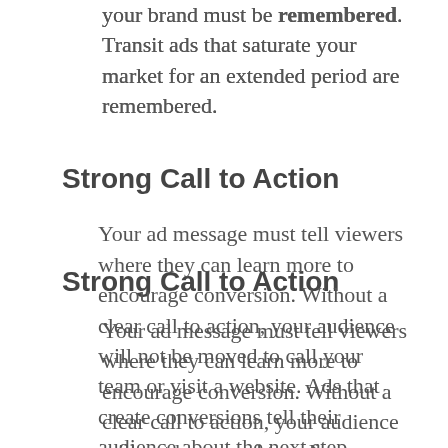your brand must be remembered. Transit ads that saturate your market for an extended period are remembered.
Strong Call to Action
Your ad message must tell viewers where they can learn more to encourage conversion. Without a clear call to action, your audience will not be moved to call your team or visit a website. Ads that create conversions tell their audience about the next step.
The most common elements that are lacking from advertisements are the right time frame, a differentiating message, and a